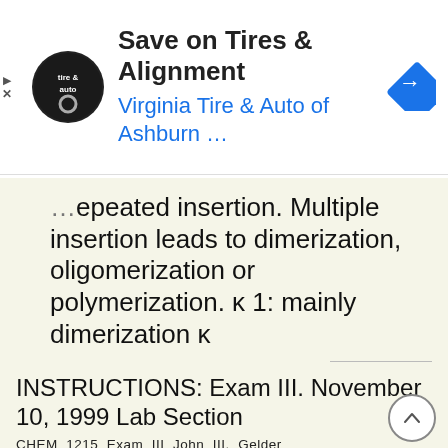[Figure (screenshot): Advertisement banner for Virginia Tire & Auto of Ashburn with logo, title 'Save on Tires & Alignment', subtitle 'Virginia Tire & Auto of Ashburn ...', and a blue navigation arrow icon]
Repeated insertion. Multiple insertion leads to dimerization, oligomerization or polymerization. κ 1: mainly dimerization κ
Repeated insertion ultiple insertion leads to dimerization, oligomerization or polymerization. k prop Et Key factor: k CT / k prop = κ κ 1: mainly dimerization κ 0.1-1.0: oligomerization (always mixtures)
More information →
INSTRUCTIONS: Exam III. November 10, 1999 Lab Section
CHEM 1215 Exam III John III. Gelder